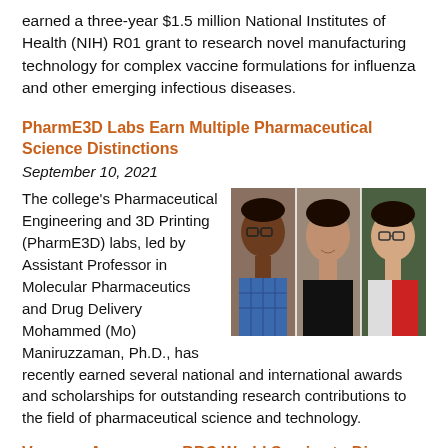earned a three-year $1.5 million National Institutes of Health (NIH) R01 grant to research novel manufacturing technology for complex vaccine formulations for influenza and other emerging infectious diseases.
PharmE3D Labs Earn Multiple Pharmaceutical Science Distinctions
September 10, 2021
[Figure (photo): Three headshot photos side by side: three men associated with PharmE3D Labs]
The college's Pharmaceutical Engineering and 3D Printing (PharmE3D) labs, led by Assistant Professor in Molecular Pharmaceutics and Drug Delivery Mohammed (Mo) Maniruzzaman, Ph.D., has recently earned several national and international awards and scholarships for outstanding research contributions to the field of pharmaceutical science and technology.
Vasquez Appears on BBC World Service to Discuss Z-